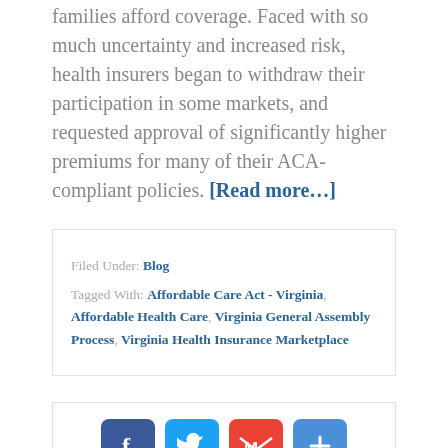families afford coverage. Faced with so much uncertainty and increased risk, health insurers began to withdraw their participation in some markets, and requested approval of significantly higher premiums for many of their ACA-compliant policies. [Read more...]
Filed Under: Blog
Tagged With: Affordable Care Act - Virginia, Affordable Health Care, Virginia General Assembly Process, Virginia Health Insurance Marketplace
[Figure (infographic): Social share buttons: Facebook, Twitter, Gmail/Google, and a plus/more button]